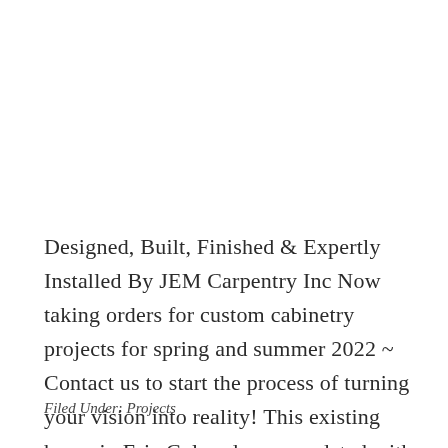Designed, Built, Finished & Expertly Installed By JEM Carpentry Inc Now taking orders for custom cabinetry projects for spring and summer 2022 ~ Contact us to start the process of turning your vision into reality! This existing home in Erie Colorado was updated with ... [Read more...]
Filed Under: Projects